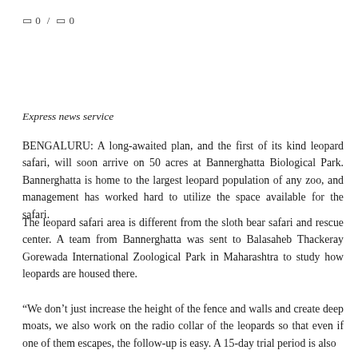🔖 0 / 🔖 0
Express news service
BENGALURU: A long-awaited plan, and the first of its kind leopard safari, will soon arrive on 50 acres at Bannerghatta Biological Park. Bannerghatta is home to the largest leopard population of any zoo, and management has worked hard to utilize the space available for the safari.
The leopard safari area is different from the sloth bear safari and rescue center. A team from Bannerghatta was sent to Balasaheb Thackeray Gorewada International Zoological Park in Maharashtra to study how leopards are housed there.
“We don’t just increase the height of the fence and walls and create deep moats, we also work on the radio collar of the leopards so that even if one of them escapes, the follow-up is easy. A 15-day trial period is also